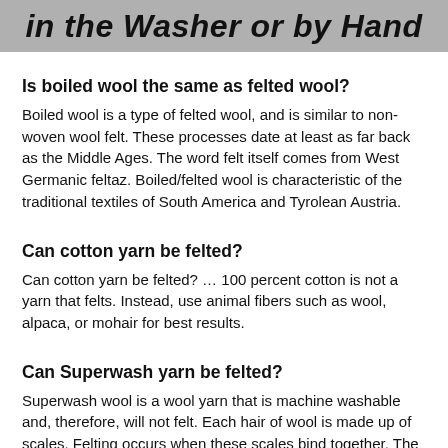in the Washer or by Hand
Is boiled wool the same as felted wool?
Boiled wool is a type of felted wool, and is similar to non-woven wool felt. These processes date at least as far back as the Middle Ages. The word felt itself comes from West Germanic feltaz. Boiled/felted wool is characteristic of the traditional textiles of South America and Tyrolean Austria.
Can cotton yarn be felted?
Can cotton yarn be felted? … 100 percent cotton is not a yarn that felts. Instead, use animal fibers such as wool, alpaca, or mohair for best results.
Can Superwash yarn be felted?
Superwash wool is a wool yarn that is machine washable and, therefore, will not felt. Each hair of wool is made up of scales. Felting occurs when these scales bind together. The superwash process prevents the scales from binding in one